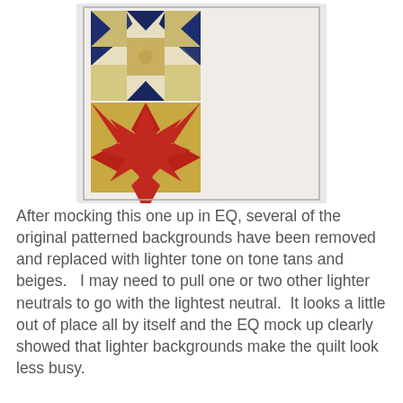[Figure (photo): A photograph of a quilt block featuring two star patterns. The top block shows a Sawtooth Star or Ohio Star in navy blue with gold/beige background fabric. The bottom block shows a Lone Star or LeMoyne Star in red fabric on a tan/gold background. The image is framed with a thin border.]
After mocking this one up in EQ, several of the original patterned backgrounds have been removed and replaced with lighter tone on tone tans and beiges.   I may need to pull one or two other lighter neutrals to go with the lightest neutral.  It looks a little out of place all by itself and the EQ mock up clearly showed that lighter backgrounds make the quilt look less busy.